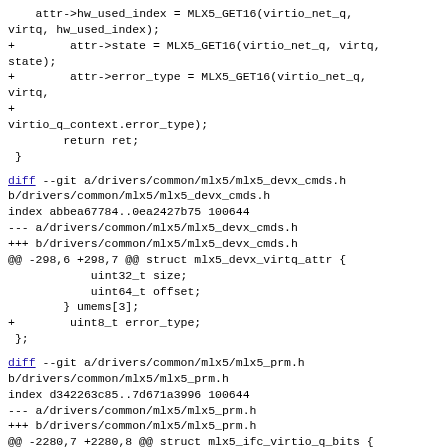attr->hw_used_index = MLX5_GET16(virtio_net_q,
virtq, hw_used_index);
+        attr->state = MLX5_GET16(virtio_net_q, virtq,
state);
+        attr->error_type = MLX5_GET16(virtio_net_q,
virtq,
+
virtio_q_context.error_type);
        return ret;
 }
diff --git a/drivers/common/mlx5/mlx5_devx_cmds.h
b/drivers/common/mlx5/mlx5_devx_cmds.h
index abbea67784..0ea2427b75 100644
--- a/drivers/common/mlx5/mlx5_devx_cmds.h
+++ b/drivers/common/mlx5/mlx5_devx_cmds.h
@@ -298,6 +298,7 @@ struct mlx5_devx_virtq_attr {
                uint32_t size;
                uint64_t offset;
        } umems[3];
+        uint8_t error_type;
 };
diff --git a/drivers/common/mlx5/mlx5_prm.h
b/drivers/common/mlx5/mlx5_prm.h
index d342263c85..7d671a3996 100644
--- a/drivers/common/mlx5/mlx5_prm.h
+++ b/drivers/common/mlx5/mlx5_prm.h
@@ -2280,7 +2280,8 @@ struct mlx5_ifc_virtio_q_bits {